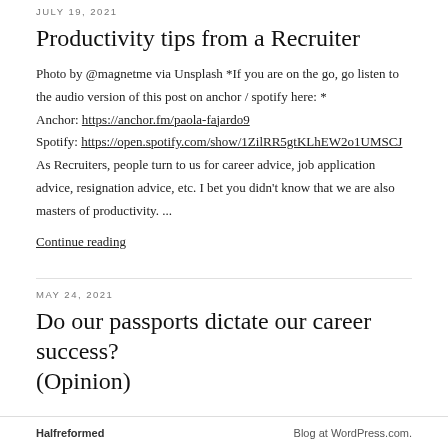JULY 19, 2021
Productivity tips from a Recruiter
Photo by @magnetme via Unsplash *If you are on the go, go listen to the audio version of this post on anchor / spotify here: *
Anchor: https://anchor.fm/paola-fajardo9
Spotify: https://open.spotify.com/show/1ZilRR5gtKLhEW2o1UMSCJ
As Recruiters, people turn to us for career advice, job application advice, resignation advice, etc. I bet you didn't know that we are also masters of productivity. ...
Continue reading
MAY 24, 2021
Do our passports dictate our career success? (Opinion)
Halfreformed | Blog at WordPress.com.